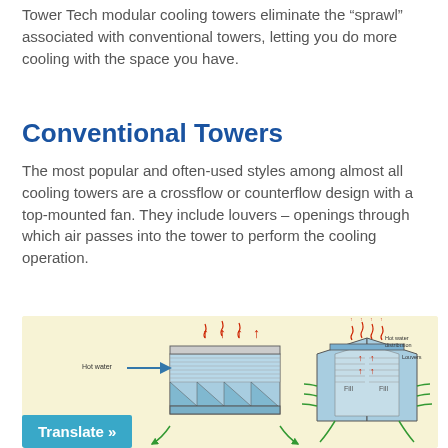Tower Tech modular cooling towers eliminate the “sprawl” associated with conventional towers, letting you do more cooling with the space you have.
Conventional Towers
The most popular and often-used styles among almost all cooling towers are a crossflow or counterflow design with a top-mounted fan. They include louvers – openings through which air passes into the tower to perform the cooling operation.
[Figure (engineering-diagram): Two engineering diagrams of cooling tower types side by side on a light yellow background. Left diagram shows a crossflow tower with 'Hot water' label and arrow pointing right, red upward arrows indicating heat/steam, and blue fill media with triangular packing. Right diagram shows a counterflow tower with 'Hot water distribution' and 'Louvers' labels, red upward arrows inside, green air-flow arrows entering from sides through fill marked 'Fill'.]